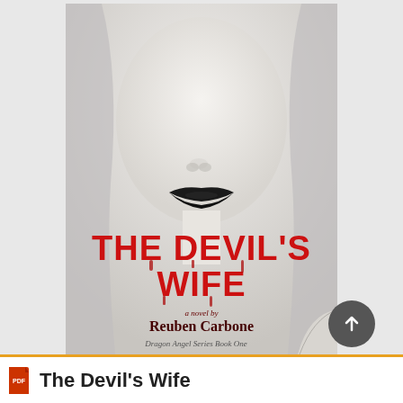[Figure (illustration): Book cover of 'The Devil's Wife' by Reuben Carbone. A woman's face with pale white skin and black lips, white/silver hair. Large red dripping horror-style text reads 'THE DEVIL'S WIFE', below it 'a novel by Reuben Carbone' in dark red serif font. At the bottom 'Dragon Angel Series Book One'. A scroll-up circular button overlaps the bottom right corner.]
The Devil's Wife